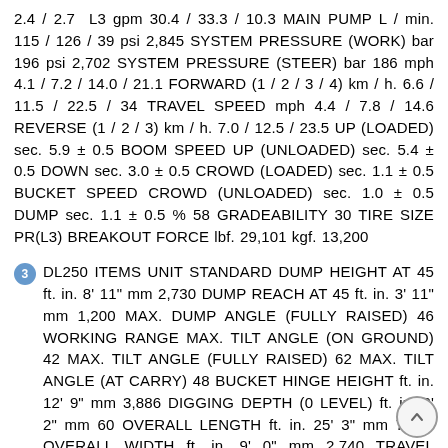2.4 / 2.7  L3 gpm 30.4 / 33.3 / 10.3 MAIN PUMP L / min. 115 / 126 / 39 psi 2,845 SYSTEM PRESSURE (WORK) bar 196 psi 2,702 SYSTEM PRESSURE (STEER) bar 186 mph 4.1 / 7.2 / 14.0 / 21.1 FORWARD (1 / 2 / 3 / 4) km / h. 6.6 / 11.5 / 22.5 / 34 TRAVEL SPEED mph 4.4 / 7.8 / 14.6 REVERSE (1 / 2 / 3) km / h. 7.0 / 12.5 / 23.5 UP (LOADED) sec. 5.9 ± 0.5 BOOM SPEED UP (UNLOADED) sec. 5.4 ± 0.5 DOWN sec. 3.0 ± 0.5 CROWD (LOADED) sec. 1.1 ± 0.5 BUCKET SPEED CROWD (UNLOADED) sec. 1.0 ± 0.5 DUMP sec. 1.1 ± 0.5 % 58 GRADEABILITY 30 TIRE SIZE PR(L3) BREAKOUT FORCE lbf. 29,101 kgf. 13,200
3 DL250 ITEMS UNIT STANDARD DUMP HEIGHT AT 45 ft. in. 8' 11" mm 2,730 DUMP REACH AT 45 ft. in. 3' 11" mm 1,200 MAX. DUMP ANGLE (FULLY RAISED) 46 WORKING RANGE MAX. TILT ANGLE (ON GROUND) 42 MAX. TILT ANGLE (FULLY RAISED) 62 MAX. TILT ANGLE (AT CARRY) 48 BUCKET HINGE HEIGHT ft. in. 12' 9" mm 3,886 DIGGING DEPTH (0 LEVEL) ft. in. 0' 2" mm 60 OVERALL LENGTH ft. in. 25' 3" mm 7,694 OVERALL WIDTH ft. in. 9' 0" mm 2,740 TRAVEL DIMENSIONS OVERALL HEIGHT ft. in. 10' 10" mm 3,290 GROUND CLEARANCE ft. in. 1' 5" mm 440 WHEEL BASE ft. in. 9' 11" mm 3,020 TREAD ft. in. 6' 8